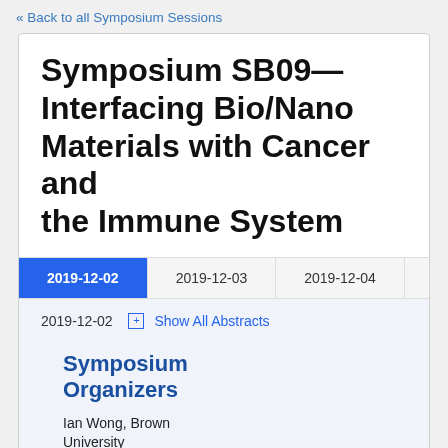« Back to all Symposium Sessions
Symposium SB09—Interfacing Bio/Nano Materials with Cancer and the Immune System
2019-12-02   2019-12-03   2019-12-04
2019-12-02  [+] Show All Abstracts
Symposium Organizers
Ian Wong, Brown University